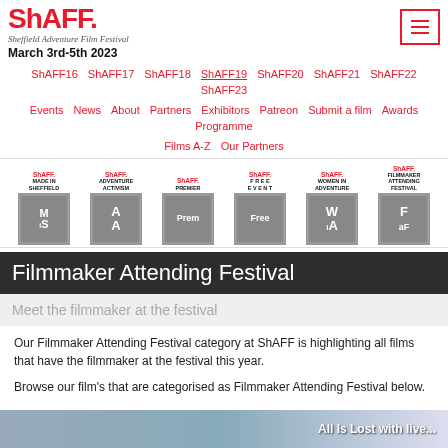ShAFF. Sheffield Adventure Film Festival March 3rd-5th 2023
ShAFF16 ShAFF17 ShAFF18 ShAFF19 ShAFF20 ShAFF21 ShAFF22 ShAFF23
Events News About Partners Exhibitors Patreon Submit a film Awards Programme
Films A-Z Our Partners
[Figure (logo): Six ShAFF category icons: Made in Sheffield, Adventure Activism, Premier, Free Event, Women in Adventure, Filmmaker Attending Festival]
Filmmaker Attending Festival
Meet the filmmaker at the festival
Our Filmmaker Attending Festival category at ShAFF is highlighting all films that have the filmmaker at the festival this year.
Browse our film's that are categorised as Filmmaker Attending Festival below.
[Figure (photo): Bottom strip showing partial image with text 'All Is Lost with live...']